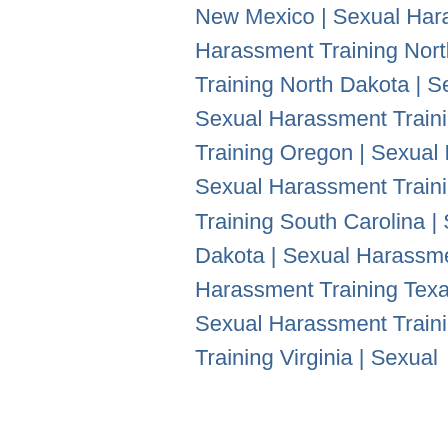New Mexico | Sexual Harassment Training New York | Sexual Harassment Training North Carolina | Sexual Harassment Training North Dakota | Sexual Harassment Training Ohio | Sexual Harassment Training Oklahoma | Sexual Harassment Training Oregon | Sexual Harassment Training Pennsylvania | Sexual Harassment Training Rhode Island | Sexual Harassment Training South Carolina | Sexual Harassment Training South Dakota | Sexual Harassment Training Tennessee | Sexual Harassment Training Texas | Sexual Harassment Training Utah | Sexual Harassment Training Vermont | Sexual Harassment Training Virginia | Sexual